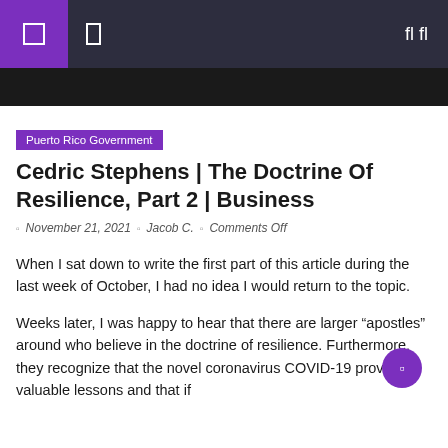Navigation bar with logo and search icon
Puerto Rico Government
Cedric Stephens | The Doctrine Of Resilience, Part 2 | Business
November 21, 2021  Jacob C.  Comments Off
When I sat down to write the first part of this article during the last week of October, I had no idea I would return to the topic.
Weeks later, I was happy to hear that there are larger “apostles” around who believe in the doctrine of resilience. Furthermore, they recognize that the novel coronavirus COVID-19 provides valuable lessons and that if